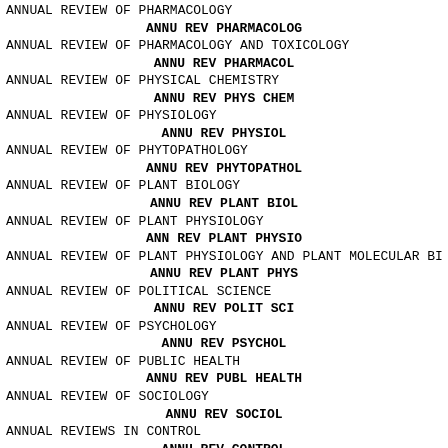ANNUAL REVIEW OF PHARMACOLOGY
ANNU REV PHARMACOLOG
ANNUAL REVIEW OF PHARMACOLOGY AND TOXICOLOGY
ANNU REV PHARMACOL
ANNUAL REVIEW OF PHYSICAL CHEMISTRY
ANNU REV PHYS CHEM
ANNUAL REVIEW OF PHYSIOLOGY
ANNU REV PHYSIOL
ANNUAL REVIEW OF PHYTOPATHOLOGY
ANNU REV PHYTOPATHOL
ANNUAL REVIEW OF PLANT BIOLOGY
ANNU REV PLANT BIOL
ANNUAL REVIEW OF PLANT PHYSIOLOGY
ANN REV PLANT PHYSIO
ANNUAL REVIEW OF PLANT PHYSIOLOGY AND PLANT MOLECULAR BIO
ANNU REV PLANT PHYS
ANNUAL REVIEW OF POLITICAL SCIENCE
ANNU REV POLIT SCI
ANNUAL REVIEW OF PSYCHOLOGY
ANNU REV PSYCHOL
ANNUAL REVIEW OF PUBLIC HEALTH
ANNU REV PUBL HEALTH
ANNUAL REVIEW OF SOCIOLOGY
ANNU REV SOCIOL
ANNUAL REVIEWS IN CONTROL
ANNU REV CONTROL
ANNUAL SELECTED PAPERS OF THE AFRICAN LITERATURE ASSOCIA
ANN SEL PAP
ANNUAL SERIES OF EUROPEAN RESEARCH IN BEHAVIOR THERAPY
ANN S EUR B